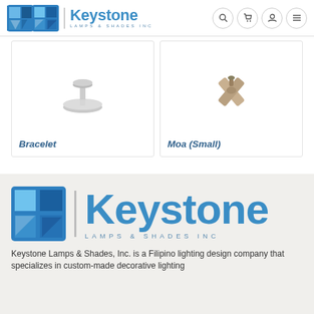Keystone Lamps & Shades Inc — website header with logo and navigation icons
[Figure (photo): Product card showing a lamp base called Bracelet — small silver/nickel circular base]
Bracelet
[Figure (photo): Product card showing a lamp base called Moa (Small) — cross-shaped wooden/natural base]
Moa (Small)
[Figure (logo): Keystone Lamps & Shades Inc large logo with icon, vertical divider, and text]
Keystone Lamps & Shades, Inc. is a Filipino lighting design company that specializes in custom-made decorative lighting